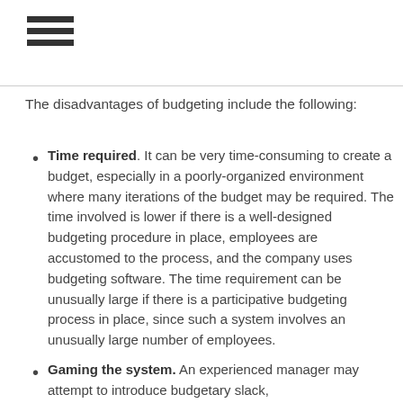≡ (menu icon)
The disadvantages of budgeting include the following:
Time required. It can be very time-consuming to create a budget, especially in a poorly-organized environment where many iterations of the budget may be required. The time involved is lower if there is a well-designed budgeting procedure in place, employees are accustomed to the process, and the company uses budgeting software. The time requirement can be unusually large if there is a participative budgeting process in place, since such a system involves an unusually large number of employees.
Gaming the system. An experienced manager may attempt to introduce budgetary slack,